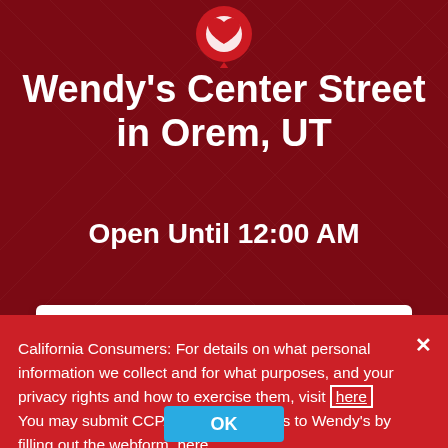[Figure (illustration): Dark red background with subtle diagonal grid pattern and a map pin icon at top center with red/white colors]
Wendy's Center Street in Orem, UT
Open Until 12:00 AM
Visit Us Today!
California Consumers: For details on what personal information we collect and for what purposes, and your privacy rights and how to exercise them, visit here You may submit CCPA-related requests to Wendy's by filling out the webform here.